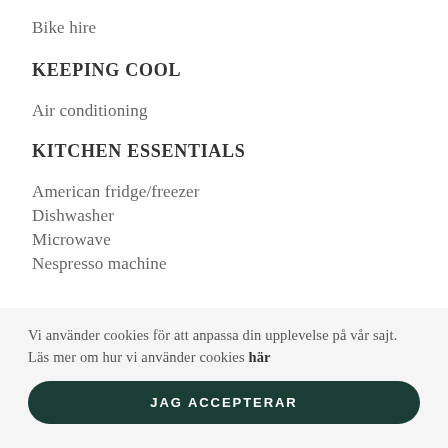Bike hire
KEEPING COOL
Air conditioning
KITCHEN ESSENTIALS
American fridge/freezer
Dishwasher
Microwave
Nespresso machine
Vi använder cookies för att anpassa din upplevelse på vår sajt. Läs mer om hur vi använder cookies här
JAG ACCEPTERAR